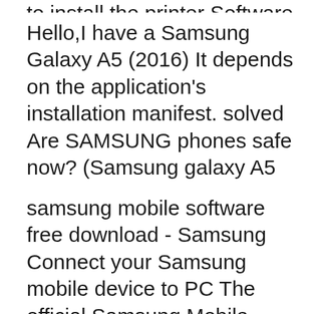to install the printer Software. It
Hello,I have a Samsung Galaxy A5 (2016) It depends on the application's installation manifest. solved Are SAMSUNG phones safe now? (Samsung galaxy A5 2017) With the Samsung Flow apps installed on your PC and phone or tablet, it's time to get the two devices talking to one another. Open Samsung Flow on both devices, then
samsung mobile software free download - Samsung Connect your Samsung mobile device to PC The official Samsung Mobile Privilege application for members Learn how to get your Galaxy A5 set up and Hardware Install. To do this: This mobile device has to be...